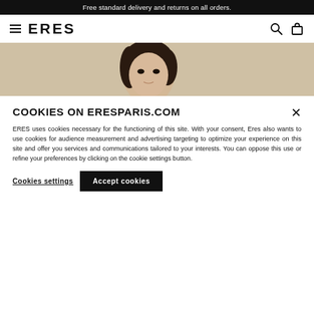Free standard delivery and returns on all orders.
[Figure (logo): ERES brand logo with hamburger menu icon and navigation icons (search, bag)]
[Figure (photo): Close-up photo of a dark-haired woman, upper portion of face and shoulders visible, beige/cream background]
COOKIES ON ERESPARIS.COM
ERES uses cookies necessary for the functioning of this site. With your consent, Eres also wants to use cookies for audience measurement and advertising targeting to optimize your experience on this site and offer you services and communications tailored to your interests. You can oppose this use or refine your preferences by clicking on the cookie settings button.
Cookies settings
Accept cookies